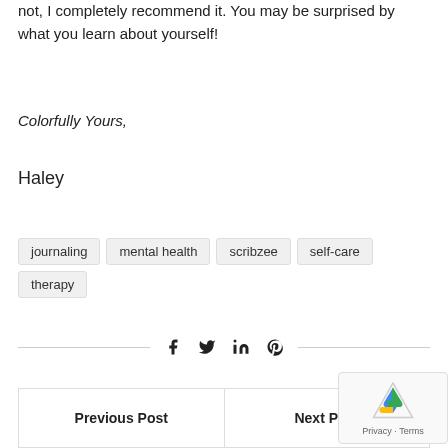not, I completely recommend it. You may be surprised by what you learn about yourself!
Colorfully Yours,
Haley
journaling
mental health
scribzee
self-care
therapy
[Figure (other): Social share icons: Facebook, Twitter, LinkedIn, Pinterest with horizontal lines on each side]
Previous Post | Next Post navigation